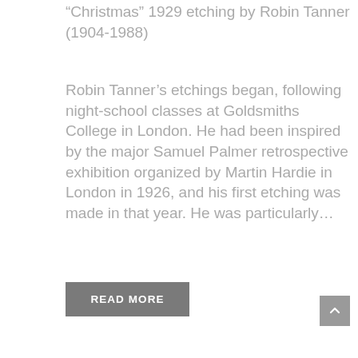“Christmas” 1929 etching by Robin Tanner (1904-1988)
Robin Tanner’s etchings began, following night-school classes at Goldsmiths College in London. He had been inspired by the major Samuel Palmer retrospective exhibition organized by Martin Hardie in London in 1926, and his first etching was made in that year. He was particularly...
READ MORE